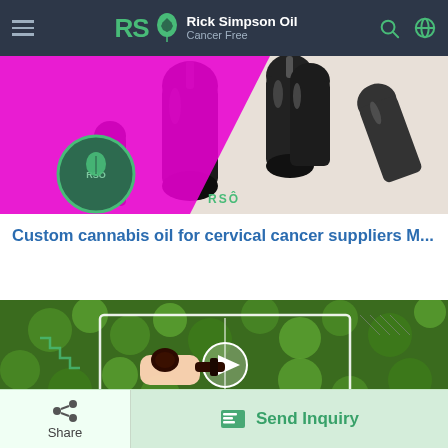RSO Rick Simpson Oil Cancer Free
[Figure (photo): Dark glass dropper bottles with cannabis oil on white background, with pink magenta graphic overlay and green RSO badge on left side]
Custom cannabis oil for cervical cancer suppliers M...
[Figure (photo): Person holding dark cannabis oil dropper near green leaves backdrop with play button overlay and RSO Cancer Free watermark]
Share | Send Inquiry